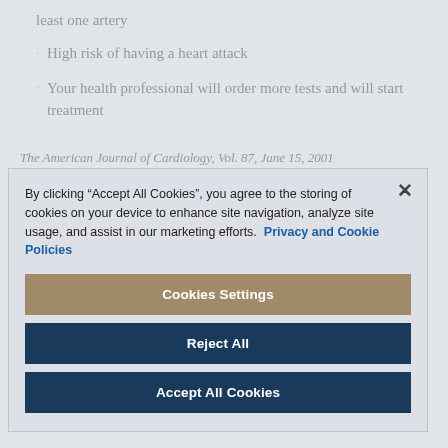least one artery
High risk of having a heart attack
Your health professional will order more tests and will start treatment
The American Journal of Cardiology, Vol. 87, June 15, 2001
By clicking “Accept All Cookies”, you agree to the storing of cookies on your device to enhance site navigation, analyze site usage, and assist in our marketing efforts. Privacy and Cookie Policies
Cookies Settings
Reject All
Accept All Cookies